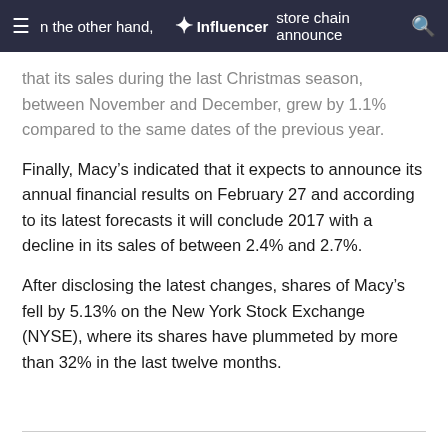n the other hand, Influencer store chain announced
that its sales during the last Christmas season, between November and December, grew by 1.1% compared to the same dates of the previous year.
Finally, Macy’s indicated that it expects to announce its annual financial results on February 27 and according to its latest forecasts it will conclude 2017 with a decline in its sales of between 2.4% and 2.7%.
After disclosing the latest changes, shares of Macy’s fell by 5.13% on the New York Stock Exchange (NYSE), where its shares have plummeted by more than 32% in the last twelve months.